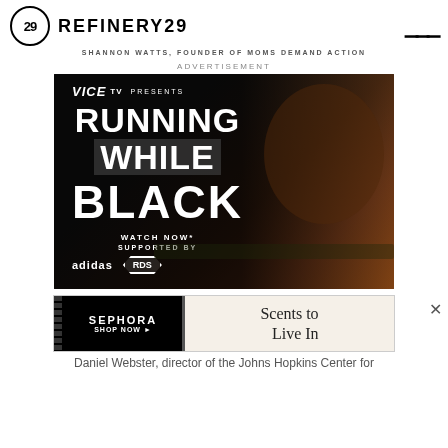REFINERY29
SHANNON WATTS, FOUNDER OF MOMS DEMAND ACTION
ADVERTISEMENT
[Figure (photo): VICE TV presents 'Running While Black' advertisement featuring a runner, sponsored by adidas and RDS]
[Figure (photo): Sephora advertisement - Shop Now - Scents to Live In]
Daniel Webster, director of the Johns Hopkins Center for